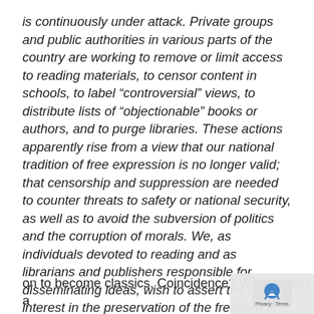is continuously under attack. Private groups and public authorities in various parts of the country are working to remove or limit access to reading materials, to censor content in schools, to label “controversial” views, to distribute lists of “objectionable” books or authors, and to purge libraries. These actions apparently rise from a view that our national tradition of free expression is no longer valid; that censorship and suppression are needed to counter threats to safety or national security, as well as to avoid the subversion of politics and the corruption of morals. We, as individuals devoted to reading and as librarians and publishers responsible for disseminating ideas, wish to assert the public interest in the preservation of the freedom to read.
Many of the books that are most often challenged go on to become classics. Coincidence? What makes a